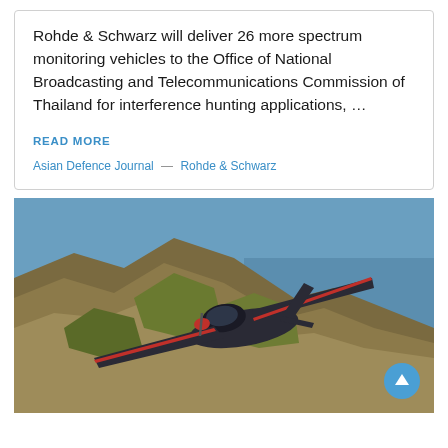Rohde & Schwarz will deliver 26 more spectrum monitoring vehicles to the Office of National Broadcasting and Telecommunications Commission of Thailand for interference hunting applications, …
READ MORE
Asian Defence Journal — Rohde & Schwarz
[Figure (photo): A small aircraft (turboprop or light jet) with swept wings flying over dramatic coastal cliffs and green terrain meeting the sea. The aircraft has a dark fuselage with red accents on the wings. A blue circular scroll-to-top button is visible in the lower right.]